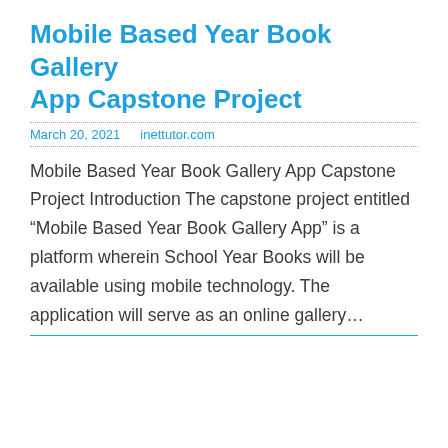Mobile Based Year Book Gallery App Capstone Project
March 20, 2021    inettutor.com
Mobile Based Year Book Gallery App Capstone Project Introduction The capstone project entitled “Mobile Based Year Book Gallery App” is a platform wherein School Year Books will be available using mobile technology. The application will serve as an online gallery…